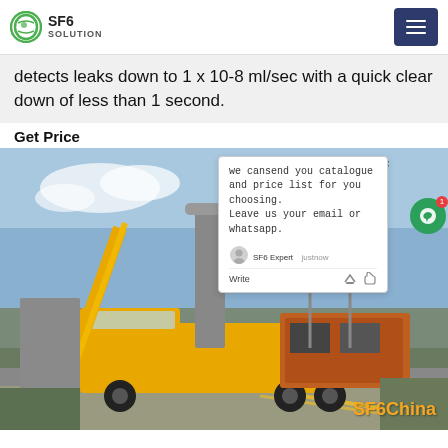SF6 SOLUTION
detects leaks down to 1 x 10-8 ml/sec with a quick clear down of less than 1 second.
Get Price
[Figure (photo): Yellow SF6 service truck and crane at an electrical substation with high-voltage towers. A chat popup overlay reads: 'we can send you catalogue and price list for you choosing. Leave us your email or whatsapp.' with SF6 Expert agent label and justnow timestamp. SF6China watermark in orange at bottom right.]